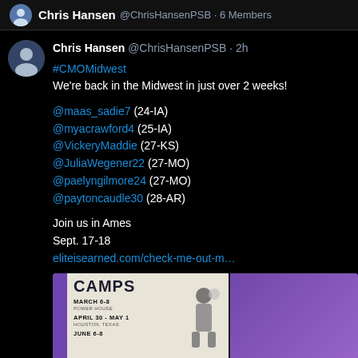Chris Hansen @ChrisHansenPSB · 6 Members
Chris Hansen @ChrisHansenPSB · 2h
#CMOMidwest
We're back in the Midwest in just over 2 weeks!

@maas_sadie7 (24-IA)
@myacrawford4 (25-IA)
@VickeryMaddie (27-KS)
@JuliaWegener22 (27-MO)
@paelyngilmore24 (27-MO)
@paytoncaudle30 (28-AR)

Join us in Ames
Sept. 17-18
eliteisearned.com/check-me-out-m…
[Figure (photo): Camps promotional card showing 'CAMPS' text with dates March 6-8, April 30-May 1, June 6-8 and a basketball player image, partially cut off second card visible]